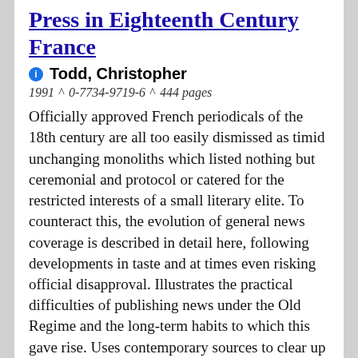Press in Eighteenth Century France
Todd, Christopher
1991 ^ 0-7734-9719-6 ^ 444 pages
Officially approved French periodicals of the 18th century are all too easily dismissed as timid unchanging monoliths which listed nothing but ceremonial and protocol or catered for the restricted interests of a small literary elite. To counteract this, the evolution of general news coverage is described in detail here, following developments in taste and at times even risking official disapproval. Illustrates the practical difficulties of publishing news under the Old Regime and the long-term habits to which this gave rise. Uses contemporary sources to clear up misconceptions and most importantly to serve as a guide to what was expected of the